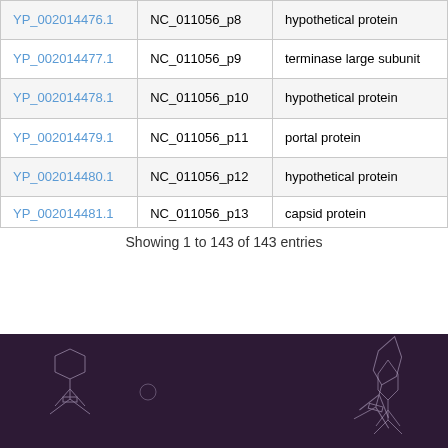|  |  |  |
| --- | --- | --- |
| YP_002014476.1 | NC_011056_p8 | hypothetical protein |
| YP_002014477.1 | NC_011056_p9 | terminase large subunit |
| YP_002014478.1 | NC_011056_p10 | hypothetical protein |
| YP_002014479.1 | NC_011056_p11 | portal protein |
| YP_002014480.1 | NC_011056_p12 | hypothetical protein |
| YP_002014481.1 | NC_011056_p13 | capsid protein |
Showing 1 to 143 of 143 entries
[Figure (illustration): Dark purple/maroon footer banner with faint white illustrations of bacteriophages (viruses with tails) and a large white elongated shape resembling a phage tail fiber or structural element.]